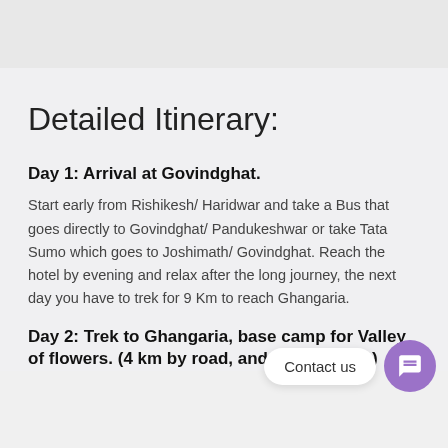Detailed Itinerary:
Day 1: Arrival at Govindghat.
Start early from Rishikesh/ Haridwar and take a Bus that goes directly to Govindghat/ Pandukeshwar or take Tata Sumo which goes to Joshimath/ Govindghat. Reach the hotel by evening and relax after the long journey, the next day you have to trek for 9 Km to reach Ghangaria.
Day 2: Trek to Ghangaria, base camp for Valley of flowers. (4 km by road, and 9 km by trek)